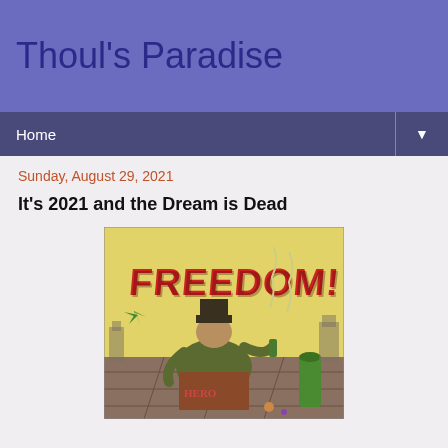Thoul's Paradise
Home
Sunday, August 29, 2021
It's 2021 and the Dream is Dead
[Figure (illustration): Comic-style illustration showing a disheveled figure sitting against a wall with 'FREEDOM!' written in graffiti-style red letters. The character appears to be holding items. The image has a dystopian, gritty aesthetic with yellow, green, and brown tones.]